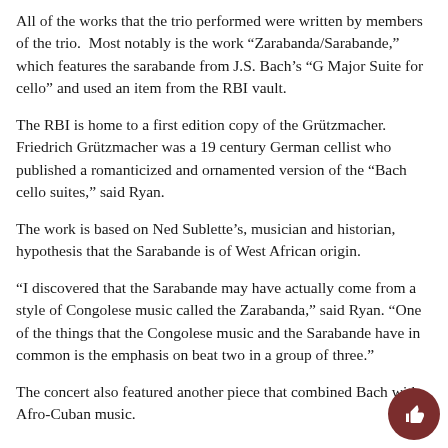All of the works that the trio performed were written by members of the trio.  Most notably is the work “Zarabanda/Sarabande,” which features the sarabande from J.S. Bach’s “G Major Suite for cello” and used an item from the RBI vault.
The RBI is home to a first edition copy of the Grützmacher. Friedrich Grützmacher was a 19 century German cellist who published a romanticized and ornamented version of the “Bach cello suites,” said Ryan.
The work is based on Ned Sublette’s, musician and historian, hypothesis that the Sarabande is of West African origin.
“I discovered that the Sarabande may have actually come from a style of Congolese music called the Zarabanda,” said Ryan. “One of the things that the Congolese music and the Sarabande have in common is the emphasis on beat two in a group of three.”
The concert also featured another piece that combined Bach with Afro-Cuban music.
[Figure (illustration): Dark red circular thumbs-up icon in the bottom right corner]